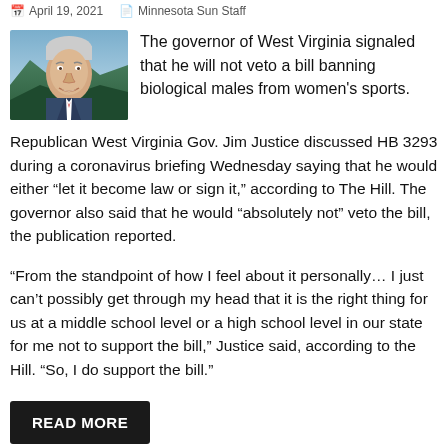April 19, 2021  Minnesota Sun Staff
[Figure (photo): Photo of a man with white/gray hair, smiling, wearing a suit, with a green landscape background.]
The governor of West Virginia signaled that he will not veto a bill banning biological males from women's sports.
Republican West Virginia Gov. Jim Justice discussed HB 3293 during a coronavirus briefing Wednesday saying that he would either “let it become law or sign it,” according to The Hill. The governor also said that he would “absolutely not” veto the bill, the publication reported.
“From the standpoint of how I feel about it personally… I just can’t possibly get through my head that it is the right thing for us at a middle school level or a high school level in our state for me not to support the bill,” Justice said, according to the Hill. “So, I do support the bill.”
READ MORE
National, News   Biological Male, Gov. Jim Justice, Jim Justice,